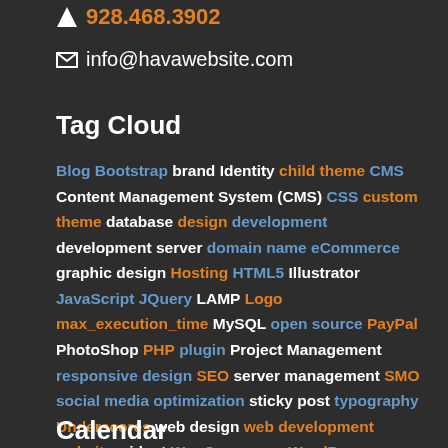928.468.3902
info@havawebsite.com
Tag Cloud
Blog Bootstrap brand Identity child theme CMS Content Management System (CMS) CSS custom theme database design development development server domain name eCommerce graphic design Hosting HTML5 Illustrator JavaScript JQuery LAMP Logo max_execution_time MySQL open source PayPal PhotoShop PHP plugin Project Management responsive design SEO server management SMO social media optimization sticky post typography Underscores web design web development website widget WooCommerce WordPress WordPress Customizer
Calendar